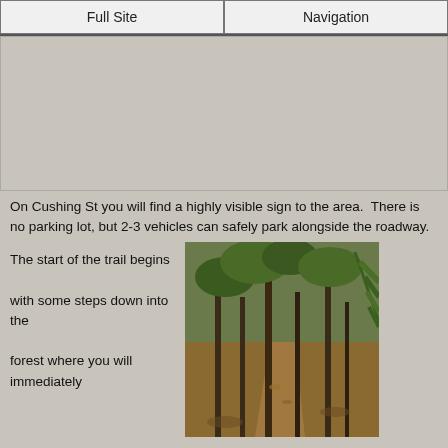Full Site | Navigation
[Figure (other): Advertisement or map placeholder area (gray background)]
On Cushing St you will find a highly visible sign to the area.  There is no parking lot, but 2-3 vehicles can safely park alongside the roadway.
The start of the trail begins

with some steps down into the

forest where you will immediately
[Figure (photo): A forest trail with fallen leaves on the ground, trees with thin trunks, and green pine branches visible on the right side.]